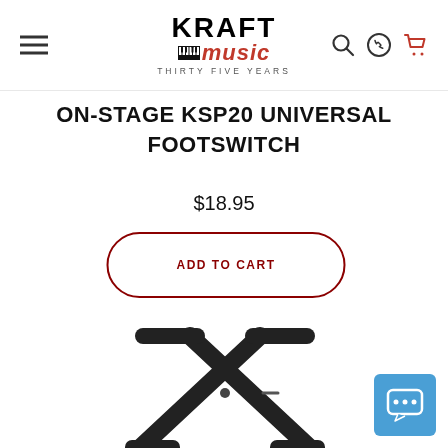[Figure (logo): Kraft Music logo with hamburger menu icon and navigation icons (search, phone, cart)]
ON-STAGE KSP20 UNIVERSAL FOOTSWITCH
$18.95
ADD TO CART
[Figure (photo): Product photo of a keyboard stand (X-style) shown partially from below, black metal frame]